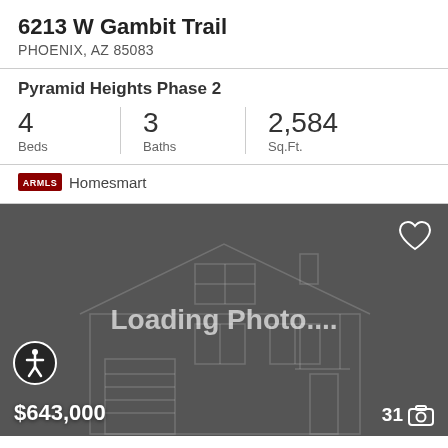6213 W Gambit Trail
PHOENIX, AZ 85083
Pyramid Heights Phase 2
| Beds | Baths | Sq.Ft. |
| --- | --- | --- |
| 4 | 3 | 2,584 |
ARMLS Homesmart
[Figure (screenshot): Loading Photo placeholder with faint house outline on dark gray background, heart icon top right, price $643,000 bottom left, photo count 31 with camera icon bottom right, accessibility icon bottom left.]